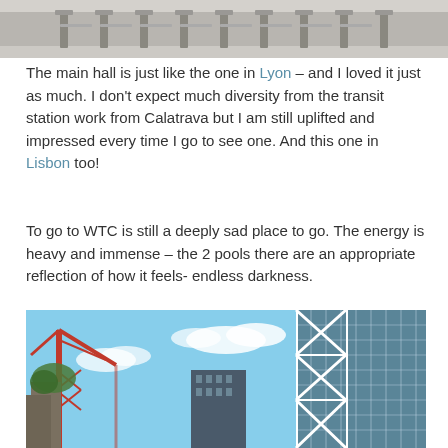[Figure (photo): Interior of a transit station hall showing turnstiles and gates, similar architectural style to Calatrava design.]
The main hall is just like the one in Lyon – and I loved it just as much. I don't expect much diversity from the transit station work from Calatrava but I am still uplifted and impressed every time I go to see one. And this one in Lisbon too!
To go to WTC is still a deeply sad place to go. The energy is heavy and immense – the 2 pools there are an appropriate reflection of how it feels- endless darkness.
[Figure (photo): Outdoor photo looking up at tall modern glass skyscrapers with white structural cross-bracing, along with a red construction crane against a blue sky. World Trade Center area, New York City.]